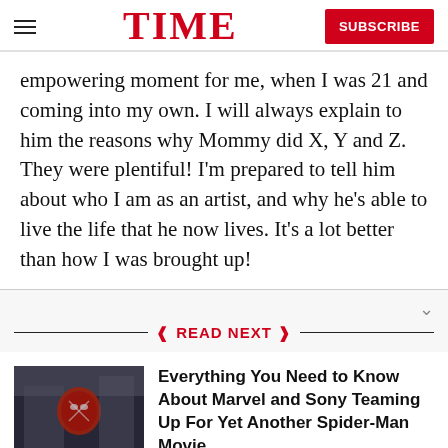TIME | SUBSCRIBE
empowering moment for me, when I was 21 and coming into my own. I will always explain to him the reasons why Mommy did X, Y and Z. They were plentiful! I'm prepared to tell him about who I am as an artist, and why he's able to live the life that he now lives. It's a lot better than how I was brought up!
READ NEXT
Everything You Need to Know About Marvel and Sony Teaming Up For Yet Another Spider-Man Movie
[Figure (photo): Spider-Man movie promotional photo]